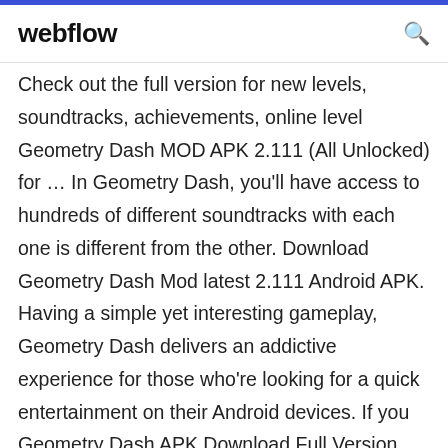webflow
Check out the full version for new levels, soundtracks, achievements, online level Geometry Dash MOD APK 2.111 (All Unlocked) for … In Geometry Dash, you'll have access to hundreds of different soundtracks with each one is different from the other. Download Geometry Dash Mod latest 2.111 Android APK. Having a simple yet interesting gameplay, Geometry Dash delivers an addictive experience for those who're looking for a quick entertainment on their Android devices. If you Geometry Dash APK Download Full Version 1.03 { … By Tammie Frantz January 27, 2020 Android, Apps, iOS 0 Comments / Geometry Dash APK is an arcade game. It has simple and easy rules